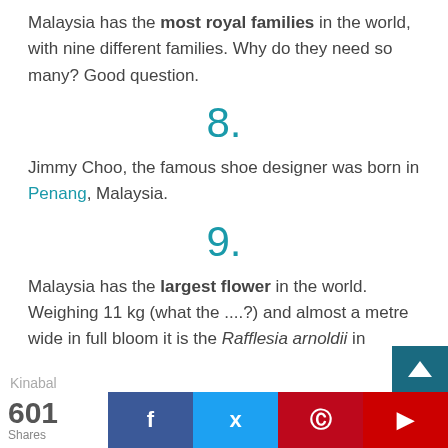Malaysia has the most royal families in the world, with nine different families. Why do they need so many? Good question.
8.
Jimmy Choo, the famous shoe designer was born in Penang, Malaysia.
9.
Malaysia has the largest flower in the world. Weighing 11 kg (what the ....?) and almost a metre wide in full bloom it is the Rafflesia arnoldii in
601 Shares | Facebook | Twitter | Pinterest | Flipboard | Kinabal...